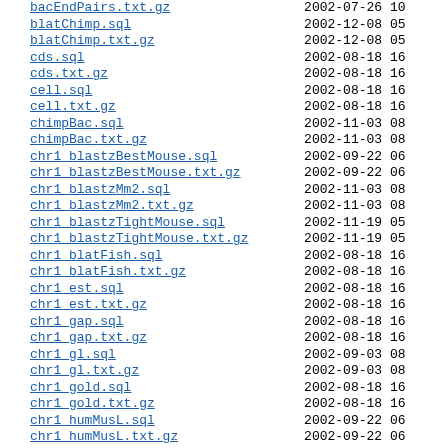bacEndPairs.txt.gz  2002-07-26 10
blatChimp.sql  2002-12-08 05
blatChimp.txt.gz  2002-12-08 05
cds.sql  2002-08-18 16
cds.txt.gz  2002-08-18 16
cell.sql  2002-08-18 16
cell.txt.gz  2002-08-18 16
chimpBac.sql  2002-11-03 08
chimpBac.txt.gz  2002-11-03 08
chr1 blastzBestMouse.sql  2002-09-22 06
chr1 blastzBestMouse.txt.gz  2002-09-22 06
chr1 blastzMm2.sql  2002-11-03 08
chr1 blastzMm2.txt.gz  2002-11-03 08
chr1 blastzTightMouse.sql  2002-11-19 05
chr1 blastzTightMouse.txt.gz  2002-11-19 05
chr1 blatFish.sql  2002-08-18 16
chr1 blatFish.txt.gz  2002-08-18 16
chr1 est.sql  2002-08-18 16
chr1 est.txt.gz  2002-08-18 16
chr1 gap.sql  2002-08-18 16
chr1 gap.txt.gz  2002-08-18 16
chr1 gl.sql  2002-09-03 08
chr1 gl.txt.gz  2002-09-03 08
chr1 gold.sql  2002-08-18 16
chr1 gold.txt.gz  2002-08-18 16
chr1 humMusL.sql  2002-09-22 06
chr1 humMusL.txt.gz  2002-09-22 06
chr1 intronEst.sql  2002-08-18 16
chr1 intronEst.txt.gz  2002-08-18 16
chr1 mrna.sql  2002-08-18 16